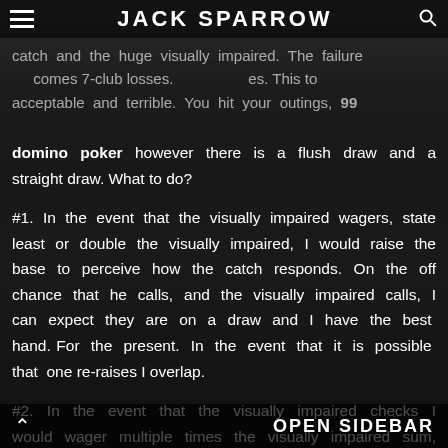JACK SPARROW
catch and the huge visually impaired. The failure becomes 7-club losses. This to acceptable and terrible. You hit your outings, 99
domino poker however there is a flush draw and a straight draw. What to do?

#1. In the event that the visually impaired wagers, state least or double the visually impaired, I would raise the base to perceive how the catch responds. On the off chance that he calls, and the visually impaired calls, I can expect they are on a draw and I have the best hand. For the present. In the event that it is possible that one re-raises I overlap.

#2. In the event that the visually impaired checks I would wager multiple times the visually impaired sum, again to see where I am. Presently if the catch calls or raises, I can expect he has a solid drawing hand, for example, two major clubs, or he has an outstanding...
OPEN SIDEBAR